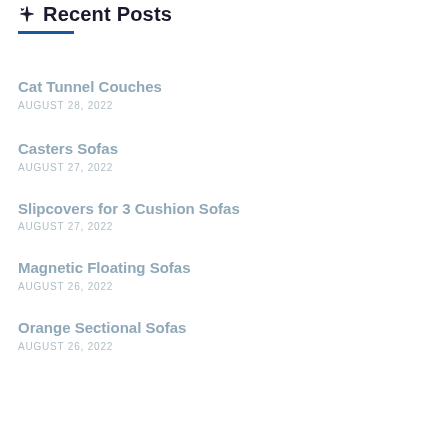Recent Posts
Cat Tunnel Couches
AUGUST 28, 2022
Casters Sofas
AUGUST 27, 2022
Slipcovers for 3 Cushion Sofas
AUGUST 27, 2022
Magnetic Floating Sofas
AUGUST 26, 2022
Orange Sectional Sofas
AUGUST 26, 2022